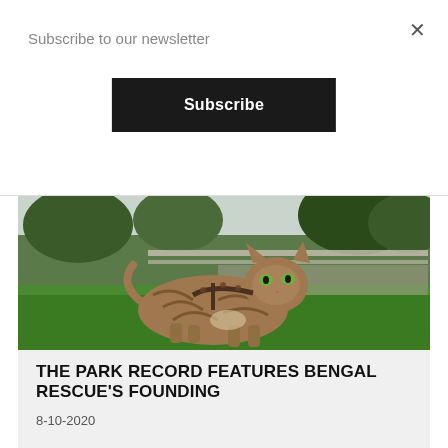Subscribe to our newsletter
Subscribe
×
[Figure (photo): A Bengal cat wearing a leopard-print harness lying on green grass outdoors, with trees and a fence in the background.]
THE PARK RECORD FEATURES BENGAL RESCUE'S FOUNDING
8-10-2020